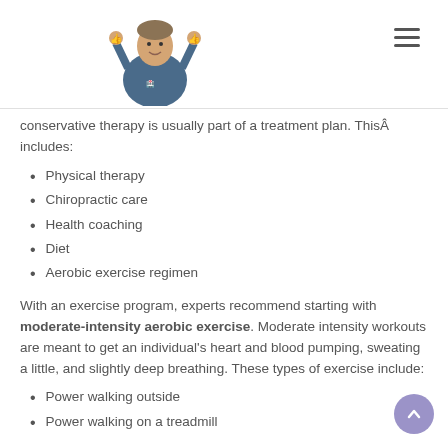[Figure (photo): Doctor in blue scrubs giving thumbs up with both hands]
conservative therapy is usually part of a treatment plan. ThisÂ includes:
Physical therapy
Chiropractic care
Health coaching
Diet
Aerobic exercise regimen
With an exercise program, experts recommend starting with moderate-intensity aerobic exercise. Moderate intensity workouts are meant to get an individual's heart and blood pumping, sweating a little, and slightly deep breathing. These types of exercise include:
Power walking outside
Power walking on a treadmill